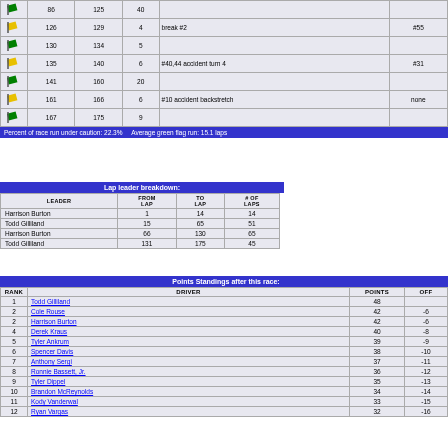|  | FROM LAP | TO LAP | # OF LAPS | NOTE | CAR # |
| --- | --- | --- | --- | --- | --- |
| green | 86 | 125 | 40 |  |  |
| yellow | 126 | 129 | 4 | break #2 | #55 |
| green | 130 | 134 | 5 |  |  |
| yellow | 135 | 140 | 6 | #40,44 accident turn 4 | #31 |
| green | 141 | 160 | 20 |  |  |
| yellow | 161 | 166 | 6 | #10 accident backstretch | none |
| green | 167 | 175 | 9 |  |  |
Percent of race run under caution: 22.3%    Average green flag run: 15.1 laps
| Lap leader breakdown: |
| --- |
| LEADER | FROM LAP | TO LAP | # OF LAPS |
| --- | --- | --- | --- |
| Harrison Burton | 1 | 14 | 14 |
| Todd Gilliland | 15 | 65 | 51 |
| Harrison Burton | 66 | 130 | 65 |
| Todd Gilliland | 131 | 175 | 45 |
| Points Standings after this race: |
| --- |
| RANK | DRIVER | POINTS | OFF |
| --- | --- | --- | --- |
| 1 | Todd Gilliland | 48 |  |
| 2 | Cole Rouse | 42 | -6 |
| 2 | Harrison Burton | 42 | -6 |
| 4 | Derek Kraus | 40 | -8 |
| 5 | Tyler Ankrum | 39 | -9 |
| 6 | Spencer Davis | 38 | -10 |
| 7 | Anthony Sergi | 37 | -11 |
| 8 | Ronnie Bassett, Jr. | 36 | -12 |
| 9 | Tyler Dippel | 35 | -13 |
| 10 | Brandon McReynolds | 34 | -14 |
| 11 | Kody Vanderwal | 33 | -15 |
| 12 | Ryan Vargas | 32 | -16 |